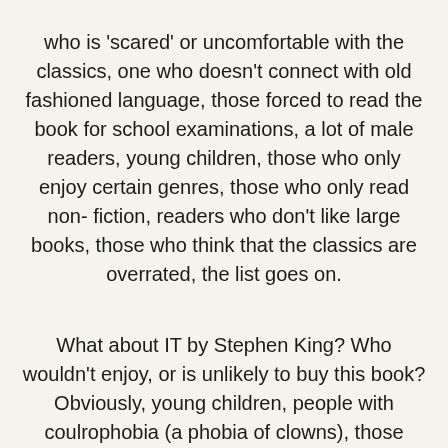who is 'scared' or uncomfortable with the classics, one who doesn't connect with old fashioned language, those forced to read the book for school examinations, a lot of male readers, young children, those who only enjoy certain genres, those who only read non- fiction, readers who don't like large books, those who think that the classics are overrated, the list goes on.
What about IT by Stephen King? Who wouldn't enjoy, or is unlikely to buy this book? Obviously, young children, people with coulrophobia (a phobia of clowns), those whose child has been kidnapped and or murdered, those of a nervous disposition, those with issues around young girl's sexual behaviour, those who don't like